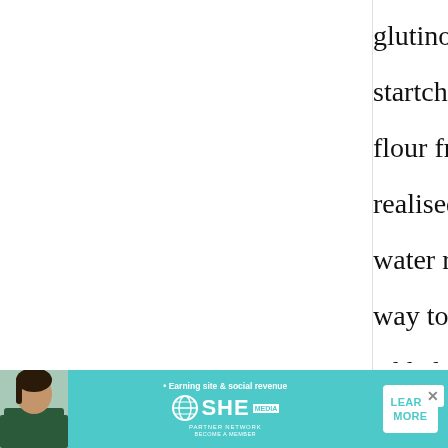glutinous rice flour+potato startch and non-glutinous rice flour from Asian grocery. I also realised that the amount of water recommended here is way too much, I gradually added about 2/3 of the water and it formed a nice dough so I stopped pouring
[Figure (other): Advertisement banner for SHE Media Partner Network with text 'Earning site & social revenue', a globe logo, SHE branding, and a 'LEARN MORE' button with 'BECOME A MEMBER' subtext. Features a woman's photo on the left side.]